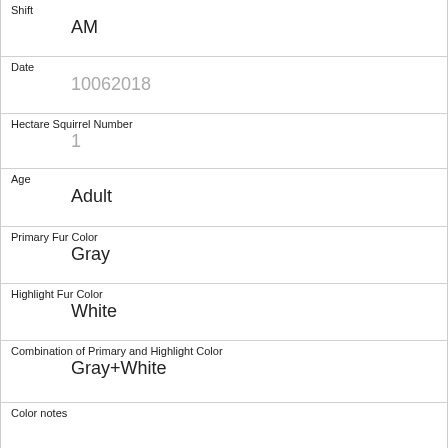Shift
AM
Date
10062018
Hectare Squirrel Number
1
Age
Adult
Primary Fur Color
Gray
Highlight Fur Color
White
Combination of Primary and Highlight Color
Gray+White
Color notes
Location
Ground Plane
Above Ground Sighter Measurement
FALSE